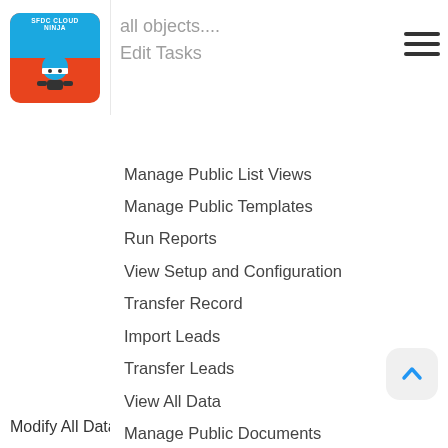[Figure (logo): SFDC CLOUD NINJA logo — blue and orange rounded square with ninja graphic]
all objects....
Edit Tasks
Edit Events
Manage Public List Views
Manage Public Templates
Run Reports
View Setup and Configuration
Transfer Record
Import Leads
Transfer Leads
View All Data
Manage Public Documents
Override Forecasts
View All Forecasts
Manage Categories
Convert Leads
Modify All Data